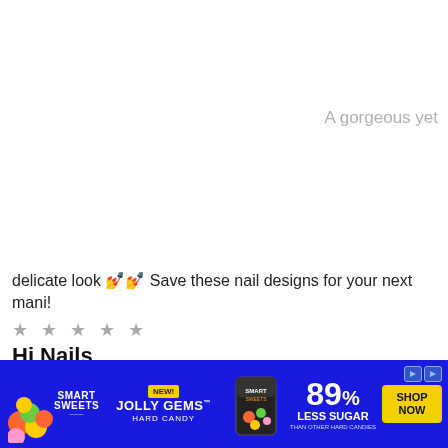A gorgeous yet
delicate look 💅💅 Save these nail designs for your next mani!
★ ★ ★ ★ ★
Hi Nails
📍 1030 W Main St, Princeton, KY 42445
[Figure (infographic): Smart Sweets Jolly Gems Hard Candy advertisement banner with 89% Less Sugar claim and Shop Now button]